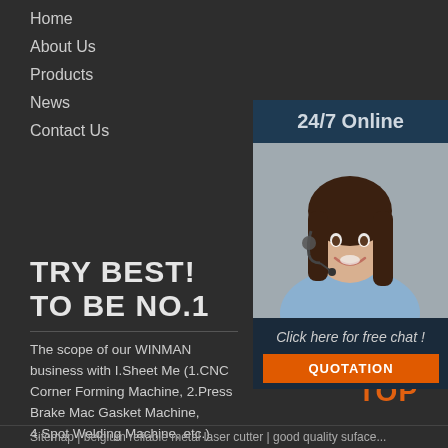Home
About Us
Products
News
Contact Us
[Figure (photo): 24/7 Online support widget with photo of woman with headset, Click here for free chat, and QUOTATION button]
TRY BEST! TO BE NO.1
The scope of our WINMAN business with I.Sheet Me (1.CNC Corner Forming Machine, 2.Press Brake Mac Gasket Machine, 4.Spot Welding Machine, etc.) II.PU Machine (1.Electrical cabinet gasket machine, 2.Air f machine, 3.Junction box gasket machine 4.PU gasket dispensing machine 5.Customized Gasket Seal Solution 6.Robot Gasket Mixing System, etc.
Sitemap | belgium reliable metal laser cutter | good quality surface...